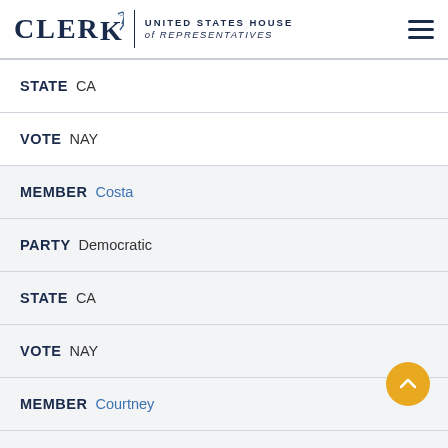CLERK United States House of Representatives
STATE CA
VOTE NAY
MEMBER Costa
PARTY Democratic
STATE CA
VOTE NAY
MEMBER Courtney